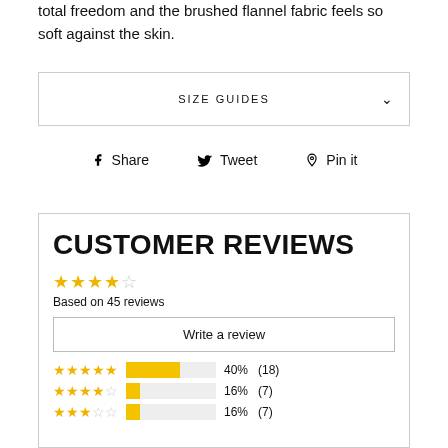total freedom and the brushed flannel fabric feels so soft against the skin.
SIZE GUIDES
Share   Tweet   Pin it
CUSTOMER REVIEWS
★★★★☆ Based on 45 reviews
Write a review
★★★★★  40%  (18)
★★★★☆  16%  (7)
★★★☆☆  16%  (7)